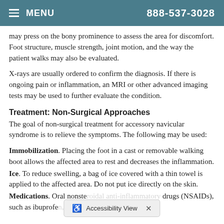MENU   888-537-3028
may press on the bony prominence to assess the area for discomfort. Foot structure, muscle strength, joint motion, and the way the patient walks may also be evaluated.
X-rays are usually ordered to confirm the diagnosis. If there is ongoing pain or inflammation, an MRI or other advanced imaging tests may be used to further evaluate the condition.
Treatment: Non-Surgical Approaches
The goal of non-surgical treatment for accessory navicular syndrome is to relieve the symptoms. The following may be used:
Immobilization. Placing the foot in a cast or removable walking boot allows the affected area to rest and decreases the inflammation.
Ice. To reduce swelling, a bag of ice covered with a thin towel is applied to the affected area. Do not put ice directly on the skin.
Medications. Oral nonsteroidal anti-inflammatory drugs (NSAIDs), such as ibuprofen... in some